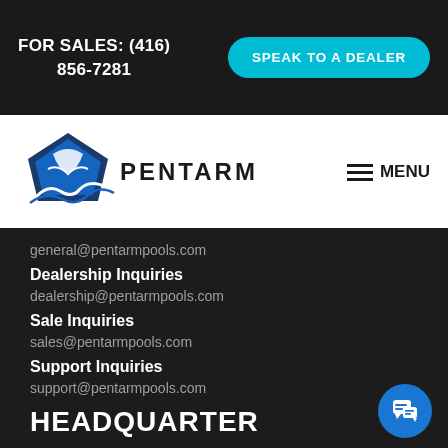FOR SALES: (416) 856-7281
SPEAK TO A DEALER
[Figure (logo): Pentarm logo with blue pentagon shield and wave, text reads PENTARM]
≡ MENU
general@pentarmpools.com
Dealership Inquiries
dealership@pentarmpools.com
Sale Inquiries
sales@pentarmpools.com
Support Inquiries
support@pentarmpools.com
HEADQUARTER